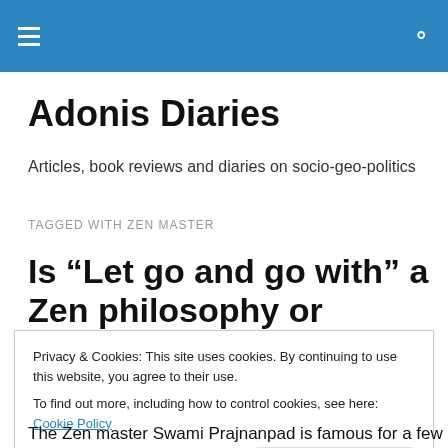Adonis Diaries — navigation header bar
Adonis Diaries
Articles, book reviews and diaries on socio-geo-politics
TAGGED WITH ZEN MASTER
Is “Let go and go with” a Zen philosophy or existential
Privacy & Cookies: This site uses cookies. By continuing to use this website, you agree to their use.
To find out more, including how to control cookies, see here: Cookie Policy
The Zen master Swami Prajnanpad is famous for a few